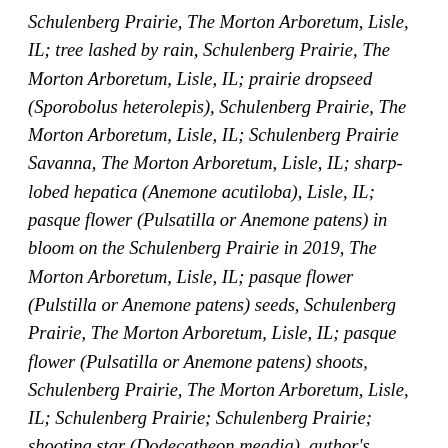Schulenberg Prairie, The Morton Arboretum, Lisle, IL; tree lashed by rain, Schulenberg Prairie, The Morton Arboretum, Lisle, IL; prairie dropseed (Sporobolus heterolepis), Schulenberg Prairie, The Morton Arboretum, Lisle, IL; Schulenberg Prairie Savanna, The Morton Arboretum, Lisle, IL; sharp-lobed hepatica (Anemone acutiloba), Lisle, IL; pasque flower (Pulsatilla or Anemone patens) in bloom on the Schulenberg Prairie in 2019, The Morton Arboretum, Lisle, IL; pasque flower (Pulstilla or Anemone patens) seeds, Schulenberg Prairie, The Morton Arboretum, Lisle, IL; pasque flower (Pulsatilla or Anemone patens) shoots, Schulenberg Prairie, The Morton Arboretum, Lisle, IL; Schulenberg Prairie; Schulenberg Prairie; shooting star (Dodecatheon meadia), author's backyard prairie, Glen Ellyn, IL; bur oak (Quercus